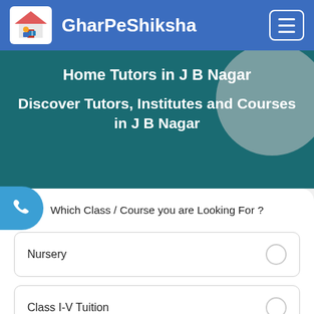GharPeShiksha
Home Tutors in J B Nagar
Discover Tutors, Institutes and Courses in J B Nagar
Which Class / Course you are Looking For ?
Nursery
Class I-V Tuition
Class VI-VII